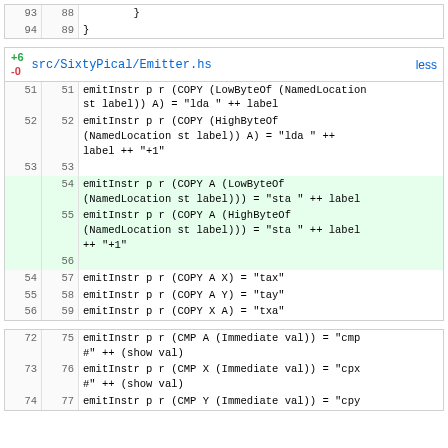| 93 | 88 |     } |
| 94 | 89 | } |
| src/SixtyPical/Emitter.hs | less |
| --- | --- |
| 51 | 51 | emitInstr p r (COPY (LowByteOf (NamedLocation st label)) A) = "lda " ++ label |
| 52 | 52 | emitInstr p r (COPY (HighByteOf (NamedLocation st label)) A) = "lda " ++ label ++ "+1" |
| 53 | 53 |  |
|  | 54 | emitInstr p r (COPY A (LowByteOf (NamedLocation st label))) = "sta " ++ label |
|  | 55 | emitInstr p r (COPY A (HighByteOf (NamedLocation st label))) = "sta " ++ label ++ "+1" |
|  | 56 |  |
| 54 | 57 | emitInstr p r (COPY A X) = "tax" |
| 55 | 58 | emitInstr p r (COPY A Y) = "tay" |
| 56 | 59 | emitInstr p r (COPY X A) = "txa" |
| 72 | 75 | emitInstr p r (CMP A (Immediate val)) = "cmp #" ++ (show val) |
| 73 | 76 | emitInstr p r (CMP X (Immediate val)) = "cpx #" ++ (show val) |
| 74 | 77 | emitInstr p r (CMP Y (Immediate val)) = "cpy... |